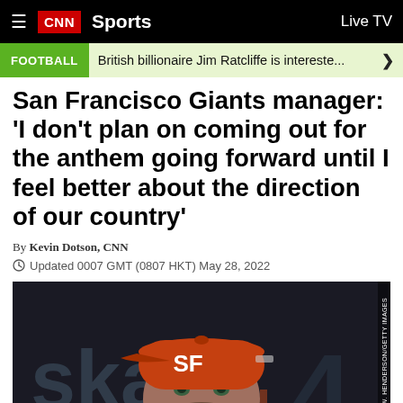CNN Sports  Live TV
FOOTBALL  British billionaire Jim Ratcliffe is intereste...
San Francisco Giants manager: 'I don't plan on coming out for the anthem going forward until I feel better about the direction of our country'
By Kevin Dotson, CNN
Updated 0007 GMT (0807 HKT) May 28, 2022
[Figure (photo): San Francisco Giants manager wearing an orange SF Giants baseball cap, looking to the side, in a dugout setting with blurred background text 'ska' and '4'. Photo credit: THEARON W. HENDERSON/GETTY IMAGES]